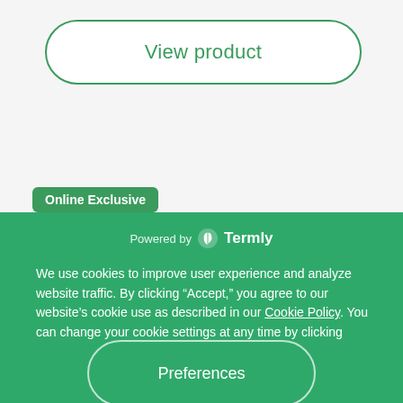View product
Online Exclusive
Powered by Termly
We use cookies to improve user experience and analyze website traffic. By clicking “Accept,” you agree to our website’s cookie use as described in our Cookie Policy. You can change your cookie settings at any time by clicking “Preferences.”
Decline
Accept
Preferences